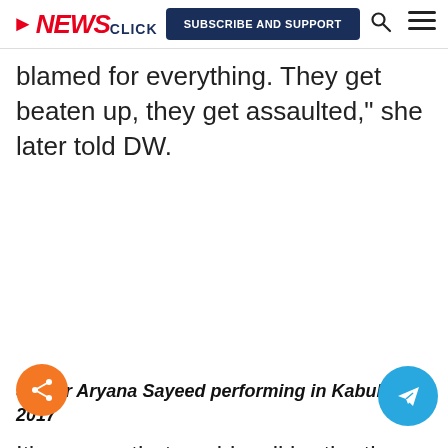NEWSCLICK | SUBSCRIBE AND SUPPORT
blamed for everything. They get beaten up, they get assaulted," she later told DW.
[Figure (photo): Empty image area representing Singer Aryana Sayeed performing in Kabul in 2017]
Singer Aryana Sayeed performing in Kabul in 2017
It's a song that could well be the theme for the Afghan Women Days, a conference organized by the EU Parliament during its other EU-led...